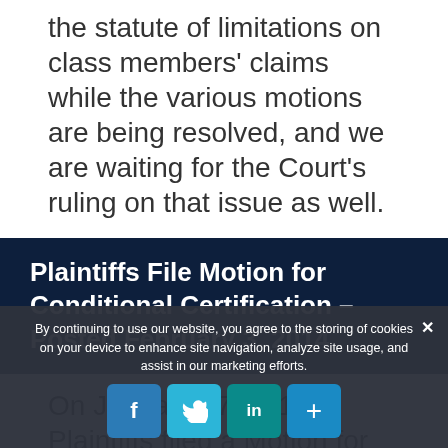the statute of limitations on class members' claims while the various motions are being resolved, and we are waiting for the Court's ruling on that issue as well.
Plaintiffs File Motion for Conditional Certification – Posted February 3, 2014
On January 17, 2014, Plaintiffs filed a Motion for Conditional Certification requesting that the Court give them permission to send notice to all persons who have worked for Abercrombie...
By continuing to use our website, you agree to the storing of cookies on your device to enhance site navigation, analyze site usage, and assist in our marketing efforts.